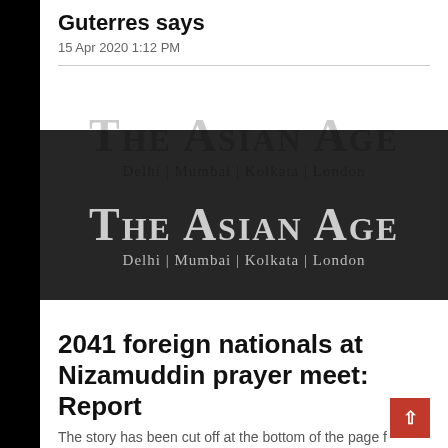Guterres says
15 Apr 2020 1:12 PM
[Figure (logo): The Asian Age newspaper logo with tagline: Delhi | Mumbai | Kolkata | London]
2041 foreign nationals at Nizamuddin prayer meet: Report
The story has been cut off at the bottom of the page.